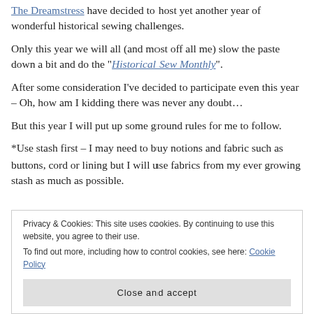The Dreamstress have decided to host yet another year of wonderful historical sewing challenges. Only this year we will all (and most off all me) slow the paste down a bit and do the "Historical Sew Monthly".
After some consideration I've decided to participate even this year – Oh, how am I kidding there was never any doubt… But this year I will put up some ground rules for me to follow.
*Use stash first – I may need to buy notions and fabric such as buttons, cord or lining but I will use fabrics from my ever growing stash as much as possible.
Privacy & Cookies: This site uses cookies. By continuing to use this website, you agree to their use. To find out more, including how to control cookies, see here: Cookie Policy  Close and accept